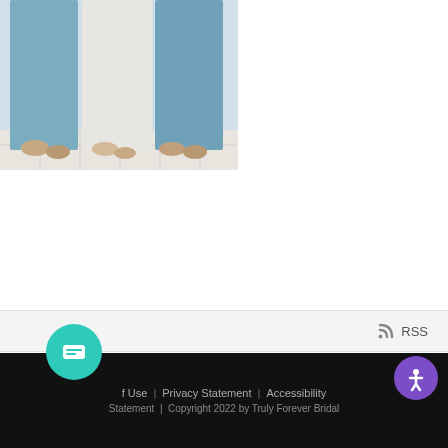[Figure (photo): Cropped photo showing lower half of bridesmaids in blue/teal dresses and one white dress standing on a tiled floor]
READ MORE
RSS
close
Hi Bride, have a question? Text us here!
1  2
f Use  |  Privacy Statement  |  Accessibility  Statement  |  Copyright 2022 by Truly Forever Bridal